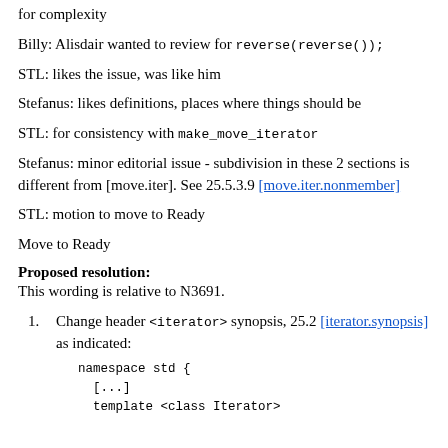for complexity
Billy: Alisdair wanted to review for reverse(reverse());
STL: likes the issue, was like him
Stefanus: likes definitions, places where things should be
STL: for consistency with make_move_iterator
Stefanus: minor editorial issue - subdivision in these 2 sections is different from [move.iter]. See 25.5.3.9 [move.iter.nonmember]
STL: motion to move to Ready
Move to Ready
Proposed resolution:
This wording is relative to N3691.
1. Change header <iterator> synopsis, 25.2 [iterator.synopsis] as indicated:
namespace std {
  [...]
  template <class Iterator>